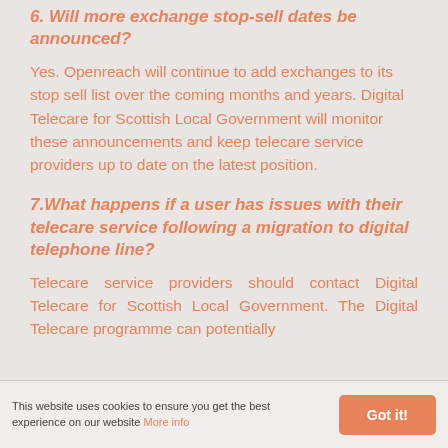6. Will more exchange stop-sell dates be announced?
Yes. Openreach will continue to add exchanges to its stop sell list over the coming months and years. Digital Telecare for Scottish Local Government will monitor these announcements and keep telecare service providers up to date on the latest position.
7.What happens if a user has issues with their telecare service following a migration to digital telephone line?
Telecare service providers should contact Digital Telecare for Scottish Local Government. The Digital Telecare programme can potentially
This website uses cookies to ensure you get the best experience on our website More info  Got it!